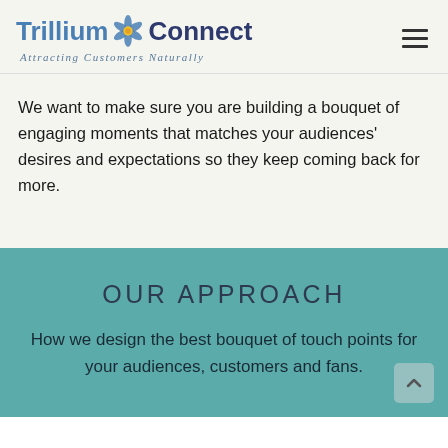[Figure (logo): Trillium Connect logo with stylized flower/star graphic between the two words, and tagline 'Attracting Customers Naturally']
We want to make sure you are building a bouquet of engaging moments that matches your audiences' desires and expectations so they keep coming back for more.
OUR APPROACH
How we design the best bouquet of touch points for your audiences, customers and fans.